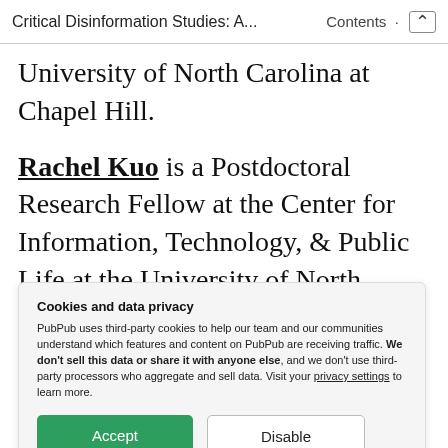Critical Disinformation Studies: A...   Contents  ˄
University of North Carolina at Chapel Hill.
Rachel Kuo is a Postdoctoral Research Fellow at the Center for Information, Technology, & Public Life at the University of North Carolina at Chapel Hill, a founding member of the Center for
Cookies and data privacy
PubPub uses third-party cookies to help our team and our communities understand which features and content on PubPub are receiving traffic. We don't sell this data or share it with anyone else, and we don't use third-party processors who aggregate and sell data. Visit your privacy settings to learn more.
Accept   Disable
Research Fellow at the Center for